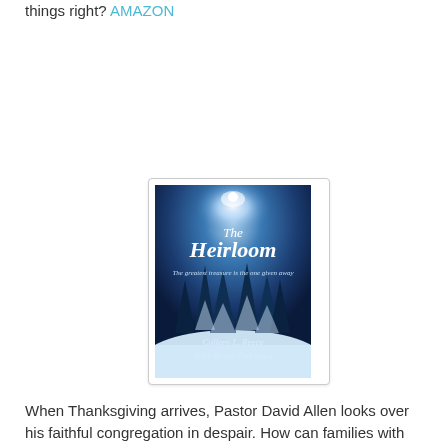things right? AMAZON
[Figure (illustration): Book cover of 'The Heirloom' by Colleen L. Reece and Julie Reece-DeMarco. A winter scene with snow-covered evergreen trees under a bright blue moonlit sky. Title text reads 'The Heirloom' with subtitle 'The greatest treasure is the one given away'.]
When Thanksgiving arrives, Pastor David Allen looks over his faithful congregation in despair. How can families with